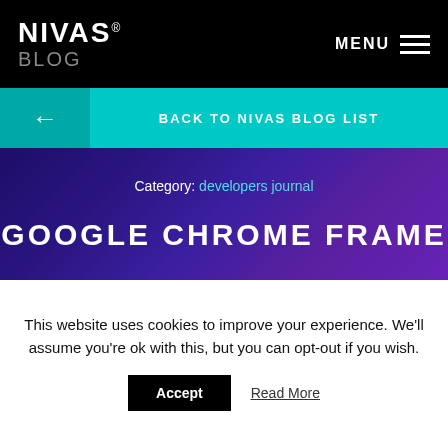NIVAS® BLOG — MENU
← BACK TO NIVAS BLOG LIST
Category: developers journal
GOOGLE CHROME FRAME
[Figure (photo): Partial golden/bronze object at bottom of hero image]
This website uses cookies to improve your experience. We'll assume you're ok with this, but you can opt-out if you wish.
Accept   Read More